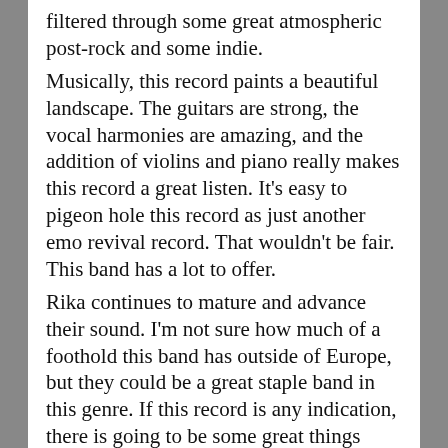filtered through some great atmospheric post-rock and some indie.
Musically, this record paints a beautiful landscape. The guitars are strong, the vocal harmonies are amazing, and the addition of violins and piano really makes this record a great listen. It's easy to pigeon hole this record as just another emo revival record. That wouldn't be fair. This band has a lot to offer.
Rika continues to mature and advance their sound. I'm not sure how much of a foothold this band has outside of Europe, but they could be a great staple band in this genre. If this record is any indication, there is going to be some great things coming int he future.
Rika
Count Your Lucky Stars
Goddamn Records
Bandcamp